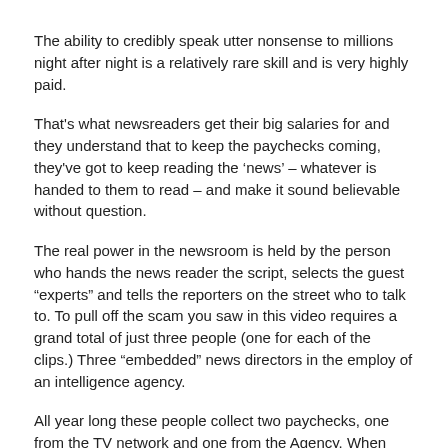The ability to credibly speak utter nonsense to millions night after night is a relatively rare skill and is very highly paid.
That's what newsreaders get their big salaries for and they understand that to keep the paychecks coming, they've got to keep reading the ‘news’ – whatever is handed to them to read – and make it sound believable without question.
The real power in the newsroom is held by the person who hands the news reader the script, selects the guest “experts” and tells the reporters on the street who to talk to. To pull off the scam you saw in this video requires a grand total of just three people (one for each of the clips.) Three “embedded” news directors in the employ of an intelligence agency.
All year long these people collect two paychecks, one from the TV network and one from the Agency. When needed, they do what needs to be done – as they all clearly did in perfectly coordinated fashion the first hours after the 9/11 attack.